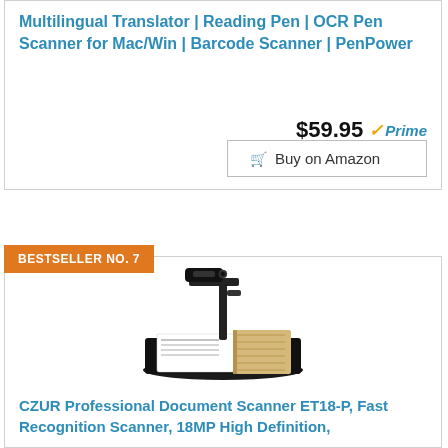Multilingual Translator | Reading Pen | OCR Pen Scanner for Mac/Win | Barcode Scanner | PenPower
$59.95 Prime
Buy on Amazon
BESTSELLER NO. 7
[Figure (photo): CZUR Professional Document Scanner on a flat scanning mat with a book placed on it]
CZUR Professional Document Scanner ET18-P, Fast Recognition Scanner, 18MP High Definition,